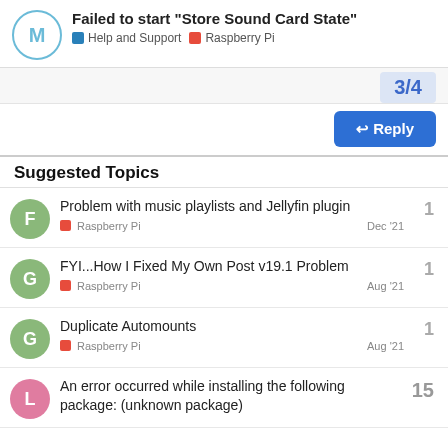Failed to start “Store Sound Card State” — Help and Support · Raspberry Pi
3/4
Reply
Suggested Topics
Problem with music playlists and Jellyfin plugin — Raspberry Pi — Dec '21 — 1
FYI...How I Fixed My Own Post v19.1 Problem — Raspberry Pi — Aug '21 — 1
Duplicate Automounts — Raspberry Pi — Aug '21 — 1
An error occurred while installing the following package: (unknown package) — 15